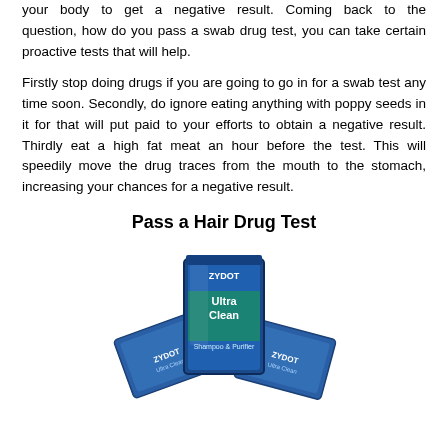your body to get a negative result. Coming back to the question, how do you pass a swab drug test, you can take certain proactive tests that will help.
Firstly stop doing drugs if you are going to go in for a swab test any time soon. Secondly, do ignore eating anything with poppy seeds in it for that will put paid to your efforts to obtain a negative result. Thirdly eat a high fat meat an hour before the test. This will speedily move the drug traces from the mouth to the stomach, increasing your chances for a negative result.
Pass a Hair Drug Test
[Figure (photo): Product photo of Zydot Ultra Clean shampoo box and packets against white background]